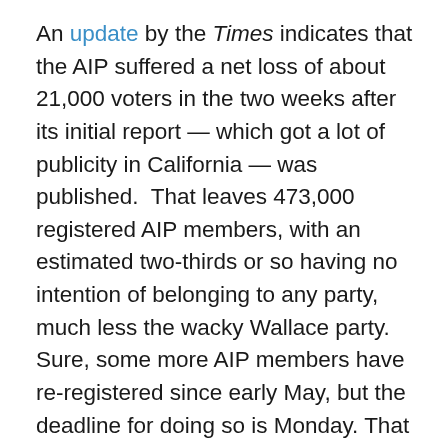An update by the Times indicates that the AIP suffered a net loss of about 21,000 voters in the two weeks after its initial report — which got a lot of publicity in California — was published.  That leaves 473,000 registered AIP members, with an estimated two-thirds or so having no intention of belonging to any party, much less the wacky Wallace party. Sure, some more AIP members have re-registered since early May, but the deadline for doing so is Monday. That is frustrating for a Bernie Sanders campaign that is desperately relying on independents to play a big role in the kind of overwhelming upset win they need to come within shouting distance of Hillary Clinton in pledged delegates. Instead, Lord knows how many tens of thousands of self-identified Democratic-leaning independents will get their mail ballots or show up at the polls to discover their choices include not Bernie Sanders